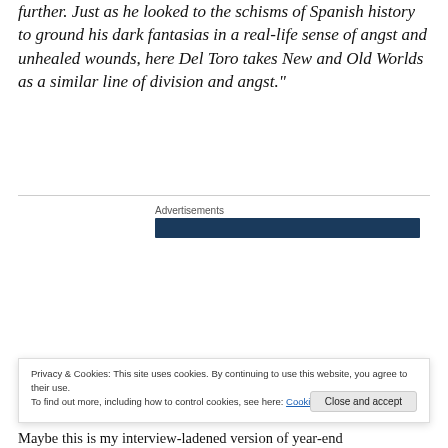further. Just as he looked to the schisms of Spanish history to ground his dark fantasias in a real-life sense of angst and unhealed wounds, here Del Toro takes New and Old Worlds as a similar line of division and angst."
Advertisements
[Figure (screenshot): Movie advertisement banner showing Mission: Impossible film imagery with Tom Cruise credit, orange/yellow title letters 'CRU', and a blue circular tech element]
Privacy & Cookies: This site uses cookies. By continuing to use this website, you agree to their use.
To find out more, including how to control cookies, see here: Cookie Policy
Maybe this is my interview-ladened version of year-end